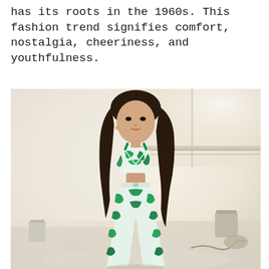has its roots in the 1960s. This fashion trend signifies comfort, nostalgia, cheeriness, and youthfulness.
[Figure (photo): A young woman wearing a green and white tie-dye matching set (crop top halter and wide-leg pants) posing in a bright, airy indoor space with large windows. The background shows a loft-like environment with a white floor, cables, and containers.]